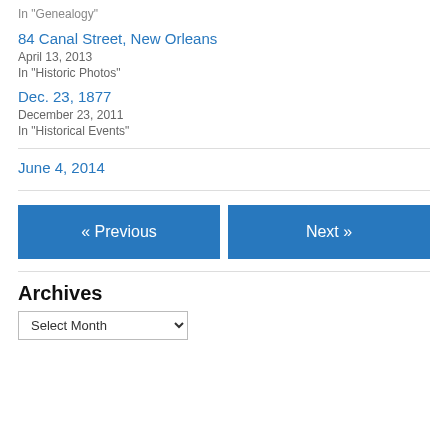In "Genealogy"
84 Canal Street, New Orleans
April 13, 2013
In "Historic Photos"
Dec. 23, 1877
December 23, 2011
In "Historical Events"
June 4, 2014
« Previous
Next »
Archives
Select Month